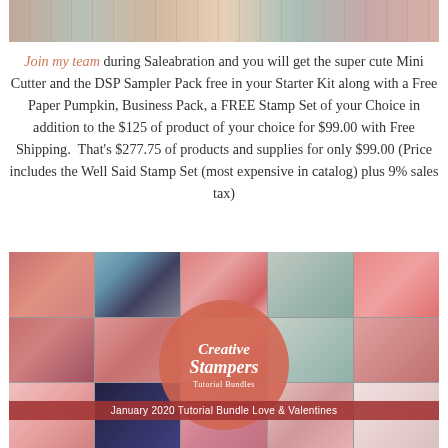[Figure (photo): Top partial photo showing craft/paper cutting tools on a wooden surface with decorative paper]
Join my team during Saleabration and you will get the super cute Mini Cutter and the DSP Sampler Pack free in your Starter Kit along with a Free Paper Pumpkin, Business Pack, a FREE Stamp Set of your Choice in addition to the $125 of product of your choice for $99.00 with Free Shipping.  That's $277.75 of products and supplies for only $99.00 (Price includes the Well Said Stamp Set (most expensive in catalog) plus 9% sales tax)
[Figure (photo): Collage of Valentine and love-themed handmade greeting cards with Creative Stampers Tutorial Bundles logo overlay and January 2020 Tutorial Bundle Love & Valentines banner]